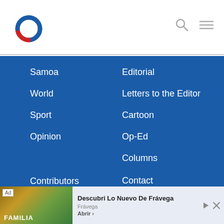[Figure (logo): Circular logo with blue top arc and red bottom arc on white background]
Samoa
World
Sport
Opinion
Editorial
Letters to the Editor
Cartoon
Op-Ed
Columns
Contributors
Between the Lines
Contact
Print Subscription
[Figure (screenshot): Advertisement banner: Ad label, FAMILIA image, text 'Descubri Lo Nuevo De Frávega', 'Frávega', 'Abrir >' button, with play and close icons]